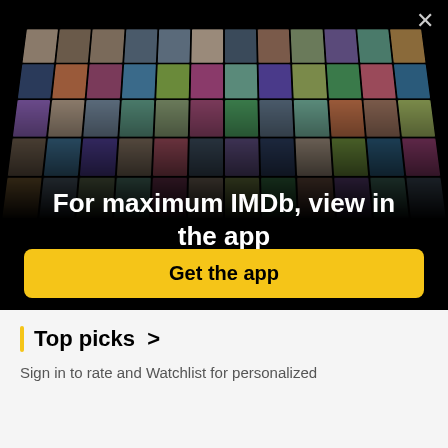[Figure (photo): IMDb app promotional banner showing a collage of celebrity photos and movie/TV posters arranged in a perspective grid, with a close button (X) in the top right corner.]
For maximum IMDb, view in the app
Get the app
Top picks >
Sign in to rate and Watchlist for personalized